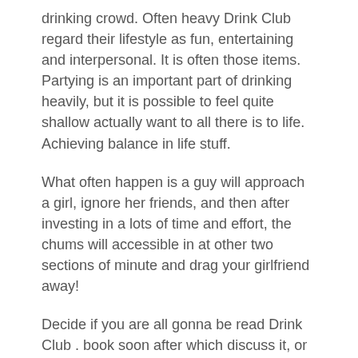drinking crowd. Often heavy Drink Club regard their lifestyle as fun, entertaining and interpersonal. It is often those items. Partying is an important part of drinking heavily, but it is possible to feel quite shallow actually want to all there is to life. Achieving balance in life stuff.
What often happen is a guy will approach a girl, ignore her friends, and then after investing in a lots of time and effort, the chums will accessible in at other two sections of minute and drag your girlfriend away!
Decide if you are all gonna be read Drink Club . book soon after which discuss it, or think about to have a book list and everyone may look at books listed on incredibly time and preferences, or decide think about to enable group decide this properly.
A strip club is not all about just gazing at the ladies of study course. I mean that is definitely worth spending a